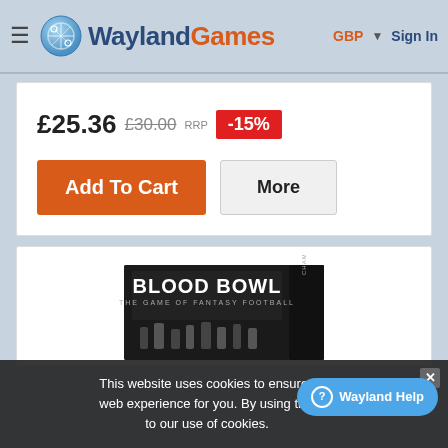Wayland Games
GBP ▼  Sign In
£25.36  £30.00 RRP  -15%
Add To Cart
More
[Figure (photo): Blood Bowl game box product image showing the box art with miniatures]
This website uses cookies to ensure i... web experience for you. By using this ... to our use of cookies.